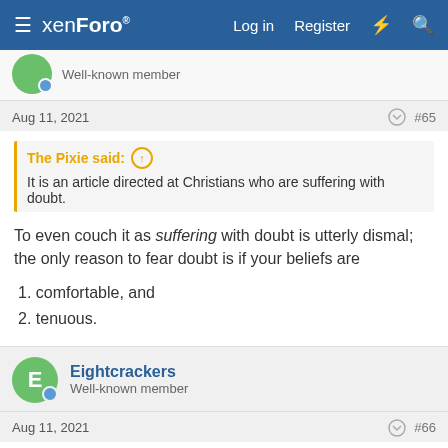xenForo — Log in  Register
Well-known member
Aug 11, 2021  #65
The Pixie said: ↑
It is an article directed at Christians who are suffering with doubt.
To even couch it as suffering with doubt is utterly dismal; the only reason to fear doubt is if your beliefs are
1. comfortable, and
2. tenuous.
Eightcrackers
Well-known member
Aug 11, 2021  #66
The Pixie said: ↑